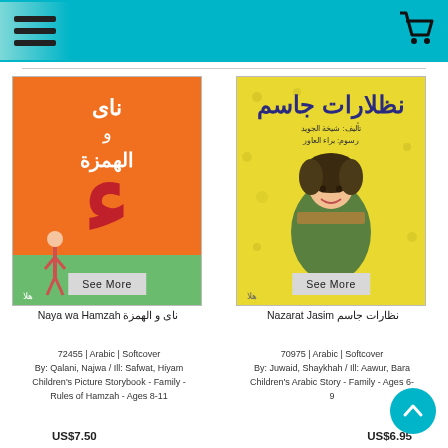[Figure (screenshot): Website header with hamburger menu icon on left and shopping cart icon on right, teal/cyan background]
[Figure (illustration): Book cover: Naya wa Hamzah - orange cover with Arabic text and illustration of a child with large red letter]
ناى و الهمزة Naya wa Hamzah
72455 | Arabic | Softcover
By: Qalani, Najwa / Ill: Safwat, Hiyam
Children's Picture Storybook - Family - Rules of Hamzah - Ages 8-11
[Figure (illustration): Book cover: Nazarat Jasim - yellow cover with Arabic text and illustration of a girl with colorful hair]
نظارات جاسم Nazarat Jasim
70975 | Arabic | Softcover
By: Juwaid, Shaykhah / Ill: Aawur, Bara
Children's Arabic Story - Family - Ages 6-9
US$7.50
US$6.95